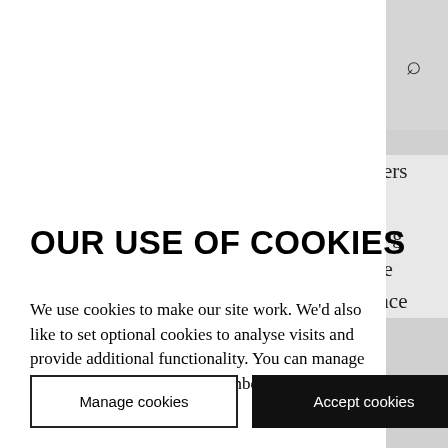gners t ising the rance
OUR USE OF COOKIES
We use cookies to make our site work. We'd also like to set optional cookies to analyse visits and provide additional functionality. You can manage the cookies and we will remember your preferences Privacy Page
Manage cookies
Accept cookies